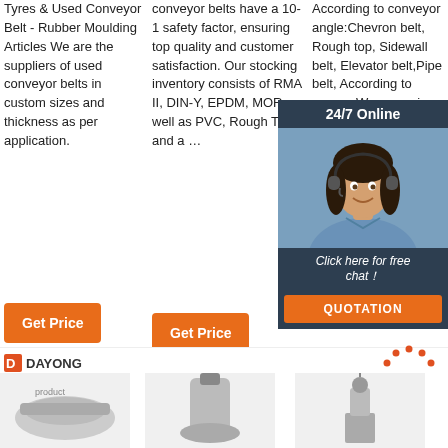Tyres & Used Conveyor Belt - Rubber Moulding Articles We are the suppliers of used conveyor belts in custom sizes and thickness as per application.
conveyor belts have a 10-1 safety factor, ensuring top quality and customer satisfaction. Our stocking inventory consists of RMA II, DIN-Y, EPDM, MOR, as well as PVC, Rough Top and a …
According to conveyor angle:Chevron belt, Rough top, Sidewall belt, Elevator belt,Pipe belt, According to cover: Wear resistant, Fire resistant, supplied rubber for a …
[Figure (photo): Customer service representative wearing a headset, with 24/7 Online chat overlay panel showing a woman smiling, with text 'Click here for free chat!' and a QUOTATION button]
Get Price
Get Price
Get Price
[Figure (logo): DAYONG logo with red D icon]
[Figure (photo): Product image - industrial machine part 1]
[Figure (photo): Product image - industrial machine part 2]
[Figure (photo): Product image - industrial machine part 3]
[Figure (other): TOP badge with arrow pointing up made of dots]